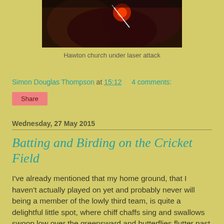[Figure (photo): Dark night photo of Hawton church with red light and laser beam visible]
Hawton church under laser attack
Simon Douglas Thompson at 15:12    4 comments:
Share
Wednesday, 27 May 2015
Batting and Birding on the Cricket Field
I've already mentioned that my home ground, that I haven't actually played on yet and probably never will being a member of the lowly third team, is quite a delightful little spot, where chiff chaffs sing and swallows swoop low over the greensward and butterflies flutter past the pavilion, in no danger at all of being hit by one of my non-powerful slogs.